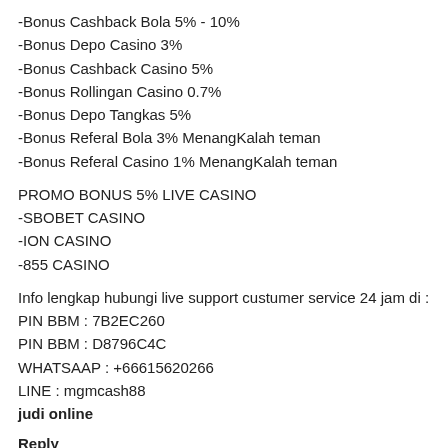-Bonus Cashback Bola 5% - 10%
-Bonus Depo Casino 3%
-Bonus Cashback Casino 5%
-Bonus Rollingan Casino 0.7%
-Bonus Depo Tangkas 5%
-Bonus Referal Bola 3% MenangKalah teman
-Bonus Referal Casino 1% MenangKalah teman
PROMO BONUS 5% LIVE CASINO
-SBOBET CASINO
-ION CASINO
-855 CASINO
Info lengkap hubungi live support custumer service 24 jam di :
PIN BBM : 7B2EC260
PIN BBM : D8796C4C
WHATSAAP : +66615620266
LINE : mgmcash88
judi online
Reply